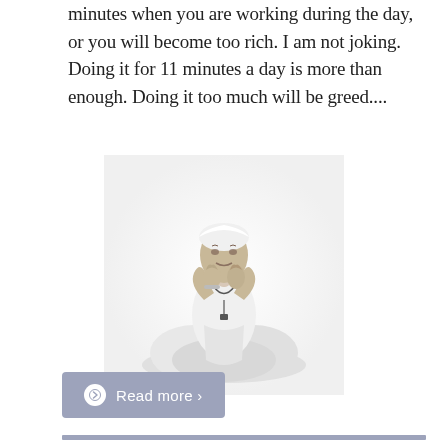minutes when you are working during the day, or you will become too rich. I am not joking. Doing it for 11 minutes a day is more than enough. Doing it too much will be greed....
[Figure (photo): Black and white photograph of a person dressed in white sitting in a cross-legged meditation pose with hands raised in prayer position at face level, wearing a white head covering and a necklace.]
Read more ›